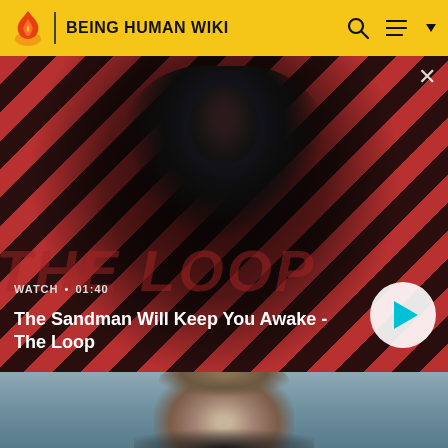BEING HUMAN WIKI
[Figure (screenshot): Video thumbnail showing a dark-clothed figure with a raven on shoulder against a red and black diagonal striped background with 'THE LOOP' text overlay. Video labeled WATCH • 01:40 titled 'The Sandman Will Keep You Awake - The Loop' with a play button.]
[Figure (photo): Partial screenshot of a second video thumbnail showing a young man's face against a dark grey background.]